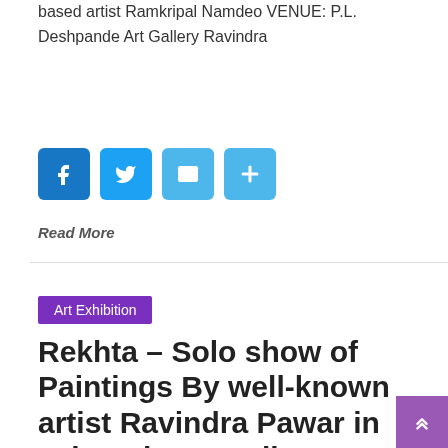based artist Ramkripal Namdeo VENUE: P.L. Deshpande Art Gallery Ravindra
[Figure (screenshot): Social share buttons: Facebook (blue), Twitter (light blue), Email (light blue), Share/Plus (light blue)]
Read More
Art Exhibition
Rekhta – Solo show of Paintings By well-known artist Ravindra Pawar in Jehangir Art Gallery